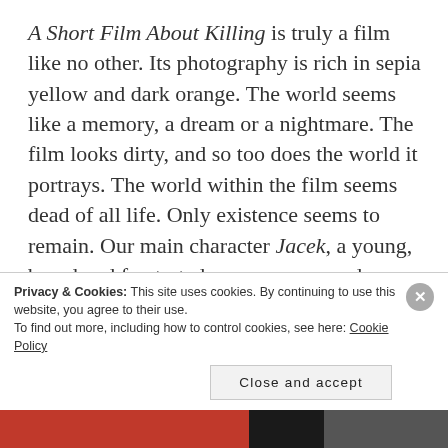A Short Film About Killing is truly a film like no other. Its photography is rich in sepia yellow and dark orange. The world seems like a memory, a dream or a nightmare. The film looks dirty, and so too does the world it portrays. The world within the film seems dead of all life. Only existence seems to remain. Our main character Jacek, a young, bored and frustrated young man wanders through the streets like a ghost. He is never quite sure exactly where he is going, or whom he will meet. In this world of uncertainty.
Privacy & Cookies: This site uses cookies. By continuing to use this website, you agree to their use.
To find out more, including how to control cookies, see here: Cookie Policy
Close and accept